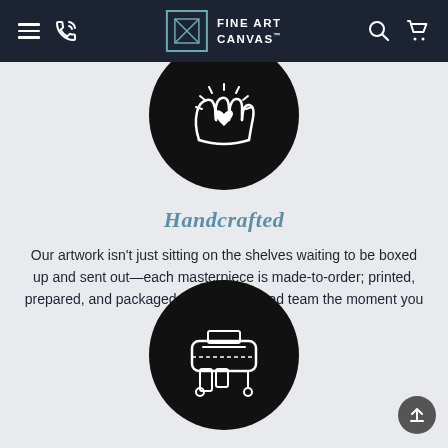Fine Art Canvas — navigation bar with menu, phone, logo, search, cart icons
[Figure (illustration): Black circle icon with two hands forming a heart shape, white line art on dark background]
Handcrafted
Our artwork isn't just sitting on the shelves waiting to be boxed up and sent out—each masterpiece is made-to-order; printed, prepared, and packaged by our dedicated team the moment you click purchase.
[Figure (illustration): Black circle icon with a large format printer illustration, white line art on dark background]